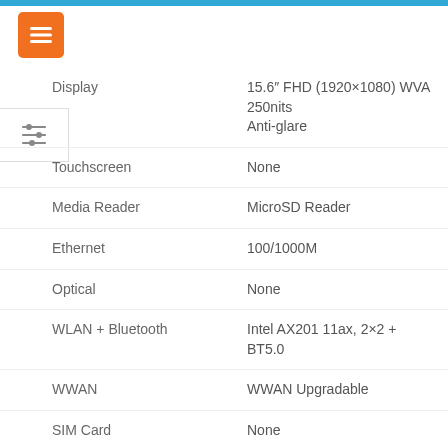[Figure (other): Orange hamburger menu button icon]
[Figure (other): Filter/sliders icon button on left side panel]
| Specification | Value |
| --- | --- |
| Display | 15.6" FHD (1920×1080) WVA 250nits Anti-glare |
| Touchscreen | None |
| Media Reader | MicroSD Reader |
| Ethernet | 100/1000M |
| Optical | None |
| WLAN + Bluetooth | Intel AX201 11ax, 2×2 + BT5.0 |
| WWAN | WWAN Upgradable |
| SIM Card | None |
| Smart Card Reader | Smart Card Reader |
| Monitor Add... |  |